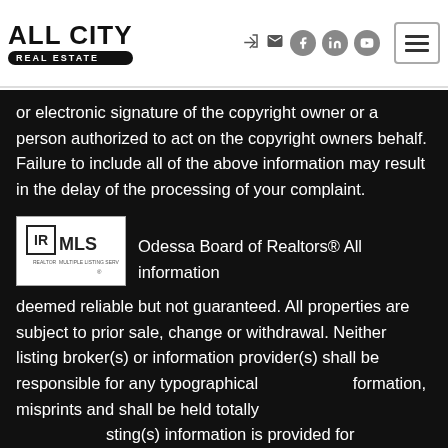[Figure (logo): All City Real Estate logo with bold text and black pill subtitle]
[Figure (illustration): Header social/nav icons: login arrow, mail, Facebook, LinkedIn, YouTube circles, and hamburger menu button]
or electronic signature of the copyright owner or a person authorized to act on the copyright owners behalf. Failure to include all of the above information may result in the delay of the processing of your complaint.
[Figure (logo): Realtor MLS logo badge — black and white with IR icon and MLS text]
Odessa Board of Realtors® All information deemed reliable but not guaranteed. All properties are subject to prior sale, change or withdrawal. Neither listing broker(s) or information provider(s) shall be responsible for any typographical formation, misprints and shall be held totally sting(s) information is provided for consumer's personal, non-commercial use and may not be used for any